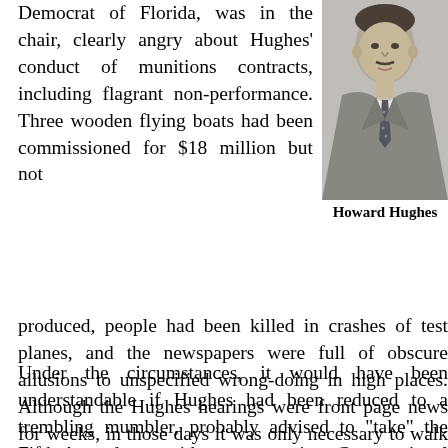Democrat of Florida, was in the chair, clearly angry about Hughes' conduct of munitions contracts, including flagrant non-performance. Three wooden flying boats had been commissioned for $18 million but not produced, people had been killed in crashes of test planes, and the newspapers were full of obscure allusions to unspecified wrong-doing in high places. Although the Hughes hearings were front page news for weeks, in those days it was only necessary to walk in and sit down if you wanted to watch them.
[Figure (photo): Black and white portrait photograph of Howard Hughes, a man in a suit and tie]
Howard Hughes
Under the circumstances, it would have been understandable if Hughes had been reduced to a trembling mumbler, probably advised to "take" the Fifth Amendment with every question. Congressional chairmen, particularly Claude Pepper,